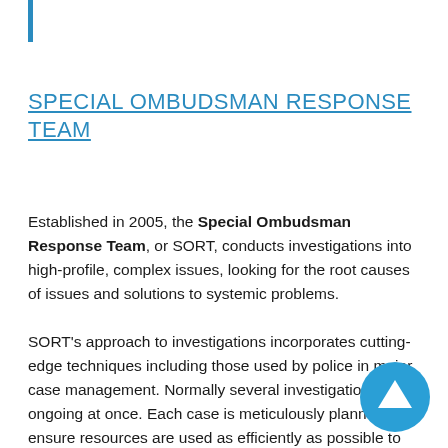SPECIAL OMBUDSMAN RESPONSE TEAM
Established in 2005, the Special Ombudsman Response Team, or SORT, conducts investigations into high-profile, complex issues, looking for the root causes of issues and solutions to systemic problems.
SORT's approach to investigations incorporates cutting-edge techniques including those used by police in major case management. Normally several investigations are ongoing at once. Each case is meticulously planned to ensure resources are used as efficiently as possible to gather large quantities of evidence. Most interviews are digitally recorded and